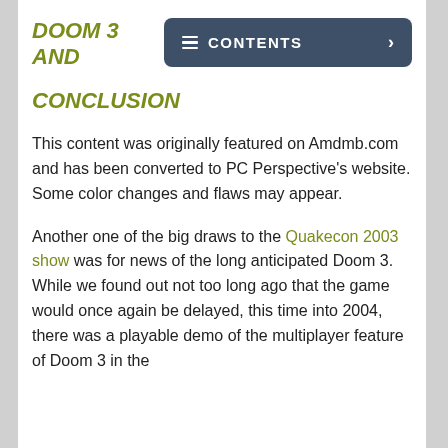DOOM 3 AND
[Figure (other): Contents navigation button with hamburger icon and arrow]
CONCLUSION
This content was originally featured on Amdmb.com and has been converted to PC Perspective's website. Some color changes and flaws may appear.
Another one of the big draws to the Quakecon 2003 show was for news of the long anticipated Doom 3. While we found out not too long ago that the game would once again be delayed, this time into 2004, there was a playable demo of the multiplayer feature of Doom 3 in the